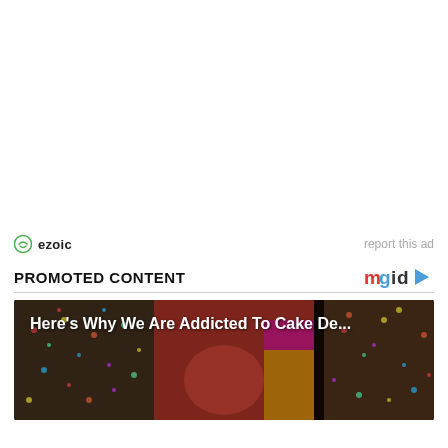[Figure (other): Empty white advertisement space (ezoic ad placeholder)]
ezoic
report this ad
PROMOTED CONTENT
[Figure (logo): mgid logo with play button triangle icon]
[Figure (photo): Promotional image of colorful sprinkle-covered cakes and cake slices with text overlay: Here's Why We Are Addicted To Cake De...]